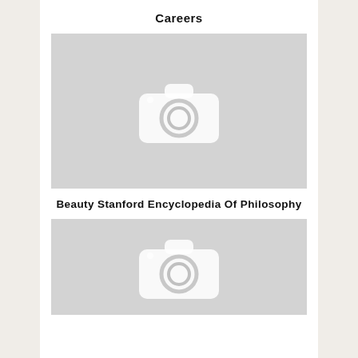Careers
[Figure (photo): Gray placeholder image with camera icon]
Beauty Stanford Encyclopedia Of Philosophy
[Figure (photo): Gray placeholder image with camera icon (partial, cropped at bottom)]